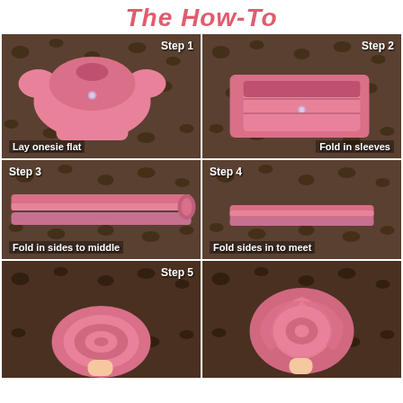The How-To
[Figure (photo): Step 1: Pink onesie laid flat on leopard print background with text 'Lay onesie flat']
[Figure (photo): Step 2: Pink onesie with sleeves folded in on leopard print background with text 'Fold in sleeves']
[Figure (photo): Step 3: Pink onesie folded into a long strip on leopard print background with text 'Fold in sides to middle']
[Figure (photo): Step 4: Pink onesie folded into a shorter strip on leopard print background with text 'Fold sides in to meet']
[Figure (photo): Step 5: Pink onesie being rolled up on leopard print background]
[Figure (photo): Final result: Pink onesie rolled into a rose/flower shape]